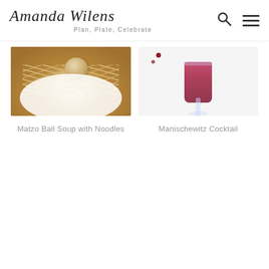Amanda Wilens — Plan, Plate, Celebrate
[Figure (photo): Bowl of matzo ball soup with noodles in golden broth]
Matzo Ball Soup with Noodles
[Figure (photo): Red/purple Manischewitz cocktail in a glass on a white background]
Manischewitz Cocktail